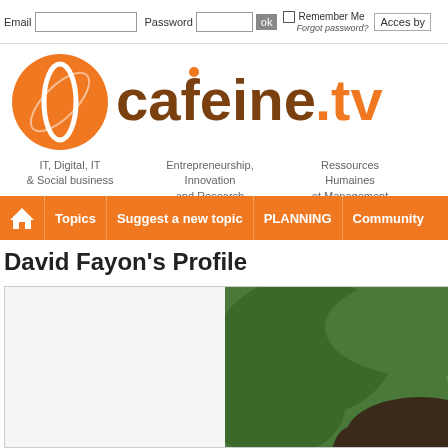Email | Password | ok | Remember Me | Forgot password? | Acces by
[Figure (logo): cafeine.tv logo with orange coffee bean icon and brown/orange text]
IT, Digital, IT & Social business
Entrepreneurship, Innovation and Research
Ressources Humaines et Management
Le réseau des web-tv collaboratives de tous les pros Proposez vos sujets, stimulez la collaboration Partagez votre expertise, recrutez vos Myprofile
Topics | Suggest a new topic | PLANNING | Community
David Fayon's Profile
[Figure (photo): Professional headshot of David Fayon, a man in a suit with purple tie against green foliage background]
Latest c